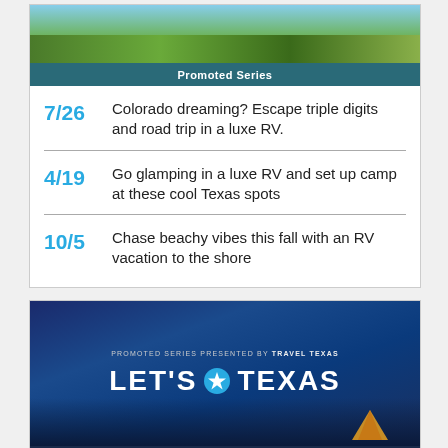[Figure (photo): Scenic outdoor/nature photo at top of first card]
Promoted Series
7/26 Colorado dreaming? Escape triple digits and road trip in a luxe RV.
4/19 Go glamping in a luxe RV and set up camp at these cool Texas spots
10/5 Chase beachy vibes this fall with an RV vacation to the shore
[Figure (illustration): Let's Texas banner image — people camping at beach at night with tent under blue sky — Promoted Series presented by Travel Texas]
[ YOUR TRAVEL GUIDE TO THE LONE STAR STATE ]
9/19 Blue Bell Ice Cream is just the